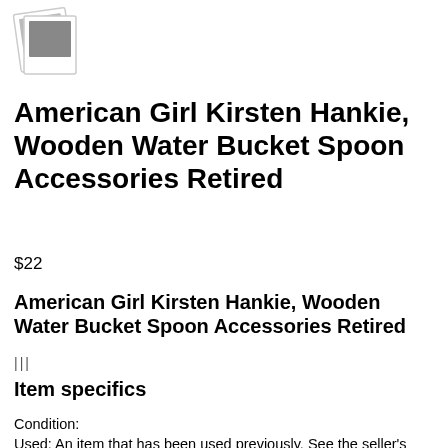[Figure (illustration): Polaroid-style photo icon showing a grey square image]
American Girl Kirsten Hankie, Wooden Water Bucket Spoon Accessories Retired
$22
American Girl Kirsten Hankie, Wooden Water Bucket Spoon Accessories Retired
|||
Item specifics
Condition:
Used: An item that has been used previously. See the seller's